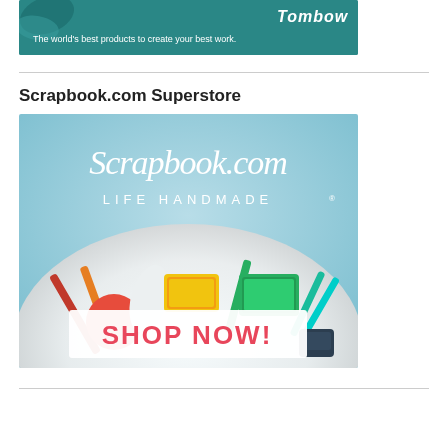[Figure (illustration): Tombow branded advertisement banner with teal/dark cyan background. Shows 'Tombow' logo text in top right and tagline 'The world's best products to create your best work.' in white text on the left.]
Scrapbook.com Superstore
[Figure (illustration): Scrapbook.com advertisement with light blue background showing 'Scrapbook.com LIFE HANDMADE®' text in white cursive/serif font at top, and various craft supplies (markers, ink pads, stamps) arranged in a fan/arc at the bottom with a white overlay banner reading 'SHOP NOW!' in large pink/coral letters.]